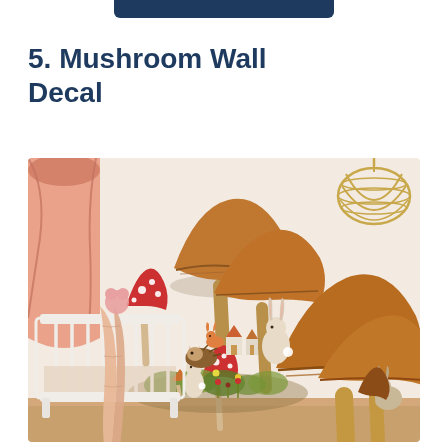5. Mushroom Wall Decal
[Figure (photo): A nursery room with large watercolor-style mushroom wall decals featuring brown and red mushrooms with woodland animals including rabbits. A white crib with a peach blanket draped over it sits on the left, and a pink canopy is visible in the far left. A gold wire pumpkin-shaped pendant light hangs from the ceiling in the upper right. The room has light wood flooring.]